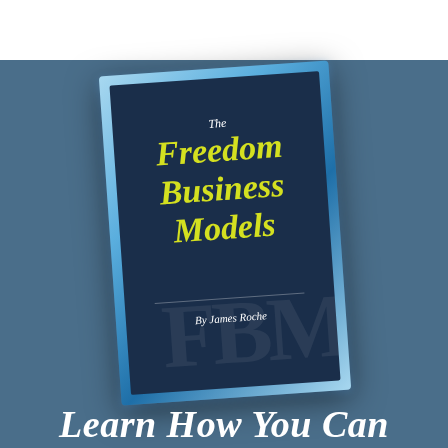[Figure (illustration): A tilted book cover for 'The Freedom Business Models by James Roche'. The cover has a dark navy blue background with a glowing light-blue border. The title 'The Freedom Business Models' is shown in large yellow italic text, with 'The' in small white italic above. Below the title is a horizontal divider line, then 'By James Roche' in white italic text. The book is displayed at a slight angle against a steel-blue background.]
Learn How You Can